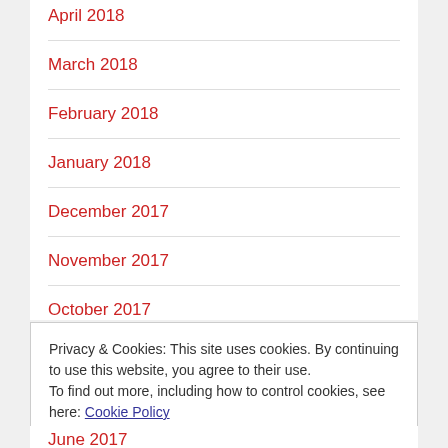April 2018
March 2018
February 2018
January 2018
December 2017
November 2017
October 2017
Privacy & Cookies: This site uses cookies. By continuing to use this website, you agree to their use.
To find out more, including how to control cookies, see here: Cookie Policy
Close and accept
June 2017